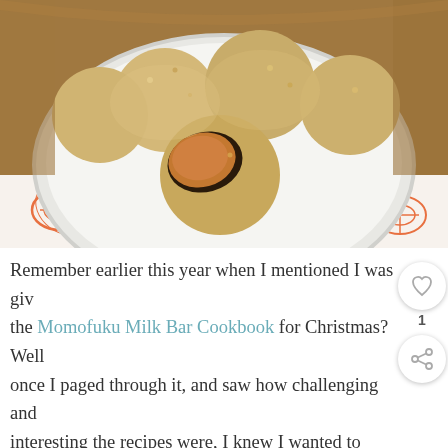[Figure (photo): A white plate with several round truffle-like balls coated in pale golden crumbs. One truffle is broken open revealing a caramel-orange filling inside. The plate sits on an orange and white floral patterned napkin on a wooden surface.]
Remember earlier this year when I mentioned I was given the Momofuku Milk Bar Cookbook for Christmas? Well once I paged through it, and saw how challenging and interesting the recipes were, I knew I wanted to make it a goal to tackle them. The recipes all include lots of steps and prep and many ingredients I've never used. My first instinct was to shy away and stick it on the shelf, but